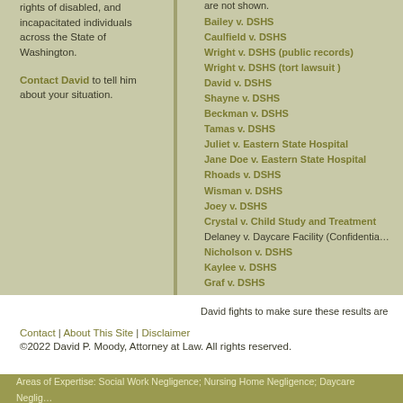rights of disabled, and incapacitated individuals across the State of Washington.
Contact David to tell him about your situation.
are not shown.
Bailey v. DSHS
Caulfield v. DSHS
Wright v. DSHS (public records)
Wright v. DSHS (tort lawsuit )
David v. DSHS
Shayne v. DSHS
Beckman v. DSHS
Tamas v. DSHS
Juliet v. Eastern State Hospital
Jane Doe v. Eastern State Hospital
Rhoads v. DSHS
Wisman v. DSHS
Joey v. DSHS
Crystal v. Child Study and Treatment
Delaney v. Daycare Facility (Confidentia…
Nicholson v. DSHS
Kaylee v. DSHS
Graf v. DSHS
David fights to make sure these results are not just trial results — see his appeal results.
Contact | About This Site | Disclaimer
©2022 David P. Moody, Attorney at Law. All rights reserved.
Areas of Expertise: Social Work Negligence; Nursing Home Negligence; Daycare Neglig…